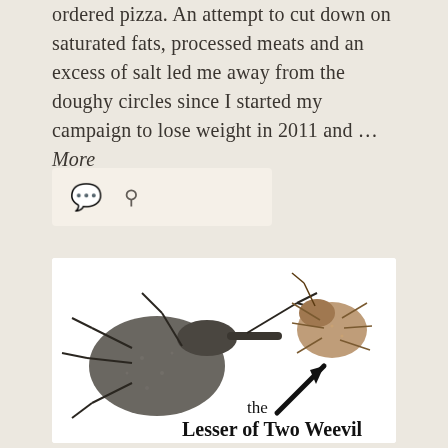ordered pizza. An attempt to cut down on saturated fats, processed meats and an excess of salt led me away from the doughy circles since I started my campaign to lose weight in 2011 and … More
[Figure (photo): Two weevil beetles on white background. A large dark grey weevil on the left and a smaller brown weevil on the right. A bold black arrow points to the smaller weevil with text reading 'the Lesser of Two Weevil'.]